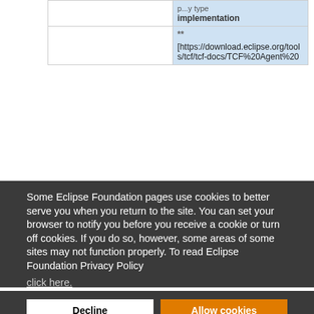| implementation |
| **
[https://download.eclipse.org/tools/tcf/tcf-docs/TCF%20Agent%20 |
Some Eclipse Foundation pages use cookies to better serve you when you return to the site. You can set your browser to notify you before you receive a cookie or turn off cookies. If you do so, however, some areas of some sites may not function properly. To read Eclipse Foundation Privacy Policy click here.
Decline
Allow cookies
← previous